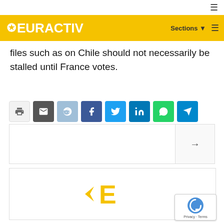EURACTIV — Sections
files such as on Chile should not necessarily be stalled until France votes.
[Figure (infographic): Social sharing buttons row: print, email, reddit, facebook, twitter, linkedin, whatsapp, telegram]
[Figure (screenshot): Related article box with navigation arrow]
[Figure (logo): EURACTIV star-E logo in gold/yellow color on white background advertisement box]